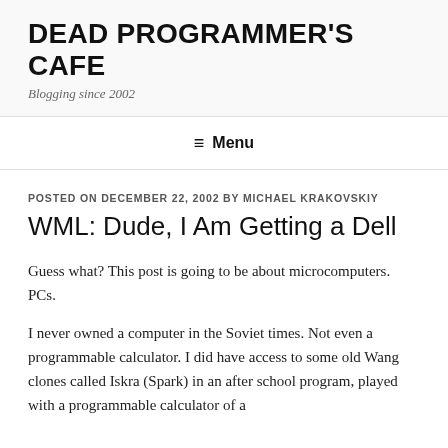DEAD PROGRAMMER'S CAFE
Blogging since 2002
≡ Menu
POSTED ON DECEMBER 22, 2002 BY MICHAEL KRAKOVSKIY
WML: Dude, I Am Getting a Dell
Guess what? This post is going to be about microcomputers. PCs.
I never owned a computer in the Soviet times. Not even a programmable calculator. I did have access to some old Wang clones called Iskra (Spark) in an after school program, played with a programmable calculator of a